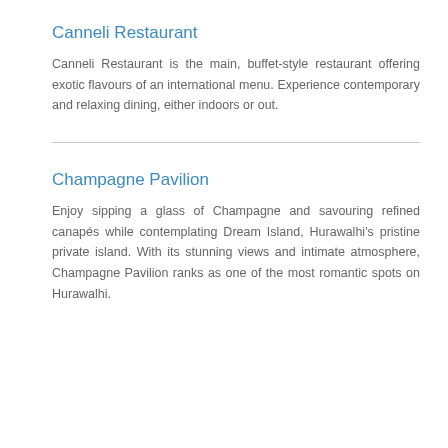Canneli Restaurant
Canneli Restaurant is the main, buffet-style restaurant offering exotic flavours of an international menu. Experience contemporary and relaxing dining, either indoors or out.
Champagne Pavilion
Enjoy sipping a glass of Champagne and savouring refined canapés while contemplating Dream Island, Hurawalhi's pristine private island. With its stunning views and intimate atmosphere, Champagne Pavilion ranks as one of the most romantic spots on Hurawalhi.